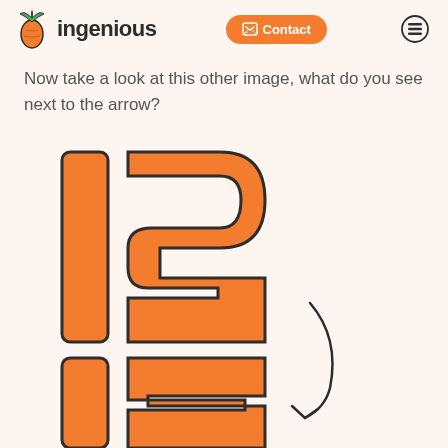ingenious — Contact
Now take a look at this other image, what do you see next to the arrow?
[Figure (illustration): Large orange numerals '12' and '13' (partially visible, cropped at bottom) displayed in a bold rounded outlined font on a cream/peach background, with a hand-drawn curved arrow pointing left toward the digits on the right side of the image.]